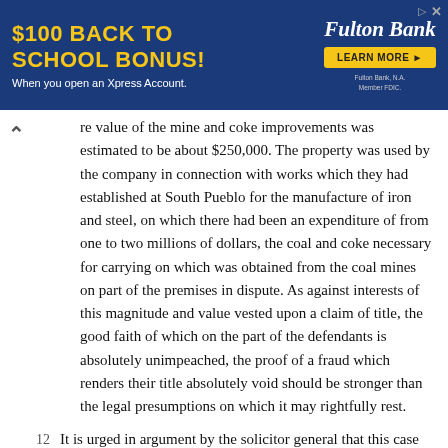[Figure (other): Advertisement banner: '$100 BACK TO SCHOOL BONUS! When you open an Xpress Account.' with Fulton Bank logo and LEARN MORE button]
re value of the mine and coke improvements was estimated to be about $250,000. The property was used by the company in connection with works which they had established at South Pueblo for the manufacture of iron and steel, on which there had been an expenditure of from one to two millions of dollars, the coal and coke necessary for carrying on which was obtained from the coal mines on part of the premises in dispute. As against interests of this magnitude and value vested upon a claim of title, the good faith of which on the part of the defendants is absolutely unimpeached, the proof of a fraud which renders their title absolutely void should be stronger than the legal presumptions on which it may rightfully rest.
12 It is urged in argument by the solicitor general that this case cannot be distinguished from that of Moffat v. U. S., 112 U. S. 24, 5 Sup. Ct. Rep. 10. The two cases are undoubtedly similar in their general aspects, but, nevertheless, differ in some particulars most material to the decision. It is stated in the report of the case cited that 'the testimony taken fully established the truth of the allegations andchargemet ent the fraud that the Moffat and Some of the